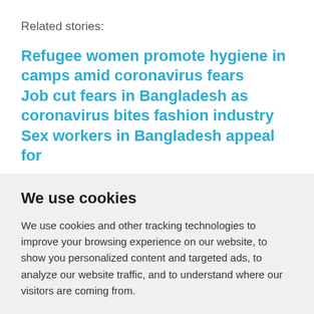Related stories:
Refugee women promote hygiene in camps amid coronavirus fears
Job cut fears in Bangladesh as coronavirus bites fashion industry
Sex workers in Bangladesh appeal for
We use cookies
We use cookies and other tracking technologies to improve your browsing experience on our website, to show you personalized content and targeted ads, to analyze our website traffic, and to understand where our visitors are coming from.